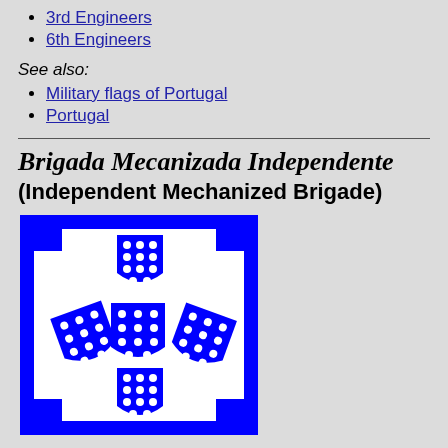3rd Engineers
6th Engineers
See also:
Military flags of Portugal
Portugal
Brigada Mecanizada Independente (Independent Mechanized Brigade)
[Figure (illustration): Flag of the Independent Mechanized Brigade showing Portuguese coat of arms shields arrangement: blue border with notched corners on white background, five blue shields with white dots arranged in a quincunx pattern (one top center, three in middle row, one bottom center).]